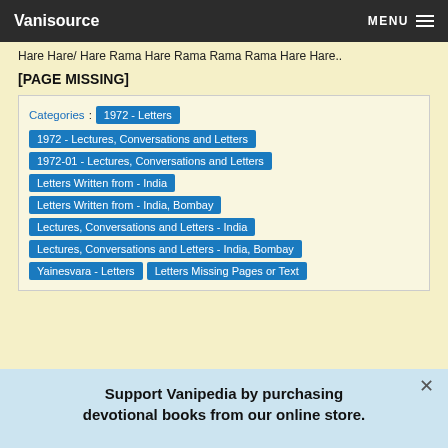Vanisource  MENU
Hare Hare/ Hare Rama Hare Rama Rama Rama Hare Hare..
[PAGE MISSING]
Categories: 1972 - Letters | 1972 - Lectures, Conversations and Letters | 1972-01 - Lectures, Conversations and Letters | Letters Written from - India | Letters Written from - India, Bombay | Lectures, Conversations and Letters - India | Lectures, Conversations and Letters - India, Bombay | Yainesvara - Letters | Letters Missing Pages or Text
Support Vanipedia by purchasing devotional books from our online store.